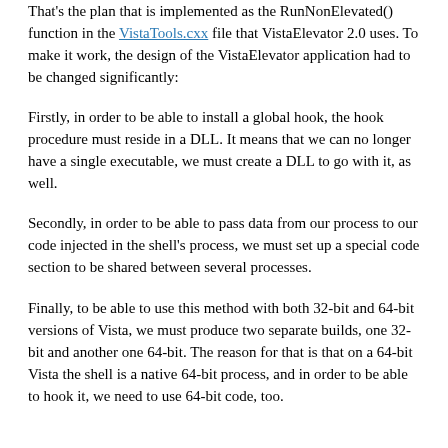That's the plan that is implemented as the RunNonElevated() function in the VistaTools.cxx file that VistaElevator 2.0 uses. To make it work, the design of the VistaElevator application had to be changed significantly:
Firstly, in order to be able to install a global hook, the hook procedure must reside in a DLL. It means that we can no longer have a single executable, we must create a DLL to go with it, as well.
Secondly, in order to be able to pass data from our process to our code injected in the shell's process, we must set up a special code section to be shared between several processes.
Finally, to be able to use this method with both 32-bit and 64-bit versions of Vista, we must produce two separate builds, one 32-bit and another one 64-bit. The reason for that is that on a 64-bit Vista the shell is a native 64-bit process, and in order to be able to hook it, we need to use 64-bit code, too.